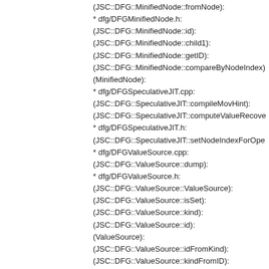(JSC::DFG::MinifiedNode::fromNode):
* dfg/DFGMinifiedNode.h:
(JSC::DFG::MinifiedNode::id):
(JSC::DFG::MinifiedNode::child1):
(JSC::DFG::MinifiedNode::getID):
(JSC::DFG::MinifiedNode::compareByNodeIndex):
(MinifiedNode):
* dfg/DFGSpeculativeJIT.cpp:
(JSC::DFG::SpeculativeJIT::compileMovHint):
(JSC::DFG::SpeculativeJIT::computeValueRecove...):
* dfg/DFGSpeculativeJIT.h:
(JSC::DFG::SpeculativeJIT::setNodeIndexForOpe...):
* dfg/DFGValueSource.cpp:
(JSC::DFG::ValueSource::dump):
* dfg/DFGValueSource.h:
(JSC::DFG::ValueSource::ValueSource):
(JSC::DFG::ValueSource::isSet):
(JSC::DFG::ValueSource::kind):
(JSC::DFG::ValueSource::id):
(ValueSource):
(JSC::DFG::ValueSource::idFromKind):
(JSC::DFG::ValueSource::kindFromID):
* dfg/DFGVariableEvent.cpp:
(JSC::DFG::VariableEvent::dump):
(JSC::DFG::VariableEvent::dumpFillInfo):
(JSC::DFG::VariableEvent::dumpSpillInfo):
* dfg/DFGVariableEvent.h:
(JSC::DFG::VariableEvent::fillGPR):
(JSC::DFG::VariableEvent::fillPair):
(JSC::DFG::VariableEvent::fillFPR):